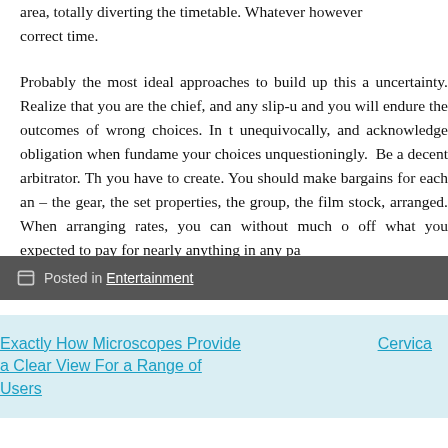area, totally diverting the timetable. Whatever however correct time.
Probably the most ideal approaches to build up this a uncertainty. Realize that you are the chief, and any slip-u and you will endure the outcomes of wrong choices. In t unequivocally, and acknowledge obligation when fundame your choices unquestioningly.  Be a decent arbitrator. Th you have to create. You should make bargains for each an – the gear, the set properties, the group, the film stock, arranged. When arranging rates, you can without much o off what you expected to pay for nearly anything in any pa
Posted in Entertainment
Exactly How Microscopes Provide a Clear View For a Range of Users
Cervica